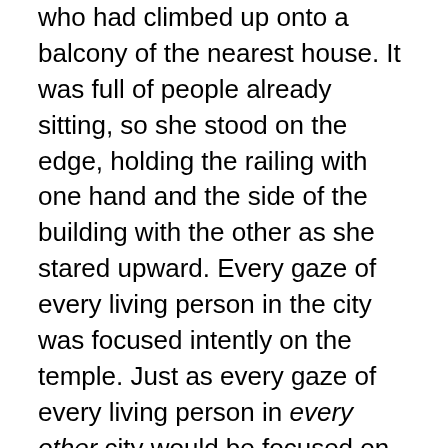who had climbed up onto a balcony of the nearest house. It was full of people already sitting, so she stood on the edge, holding the railing with one hand and the side of the building with the other as she stared upward. Every gaze of every living person in the city was focused intently on the temple. Just as every gaze of every living person in every other city would be focused on their own temples. This had been intentionally timed, through communication magic, to happen simultaneously. If one city was going to do it, they all were. Every city on the planet was in sync, each of them waiting to do this together, united as one.
The flames started small, just at the base of the temple. But with the fuel that had been carried inside, it soon spread. Within a few short minutes, the entire enormous building was ablaze. It burned like a giant torch in the middle of the city, the fire visible from miles away. There